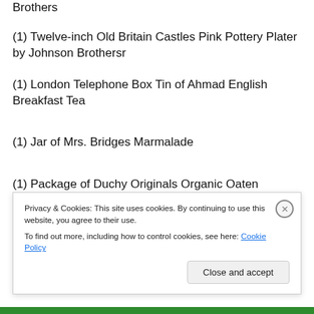Brothers
(1) Twelve-inch Old Britain Castles Pink Pottery Plater by Johnson Brothersr
(1) London Telephone Box Tin of Ahmad English Breakfast Tea
(1) Jar of Mrs. Bridges Marmalade
(1) Package of Duchy Originals Organic Oaten Biscuits
(2) Packets of Blue Boy Cornflower Seeds by Renee's
Privacy & Cookies: This site uses cookies. By continuing to use this website, you agree to their use.
To find out more, including how to control cookies, see here: Cookie Policy
Close and accept